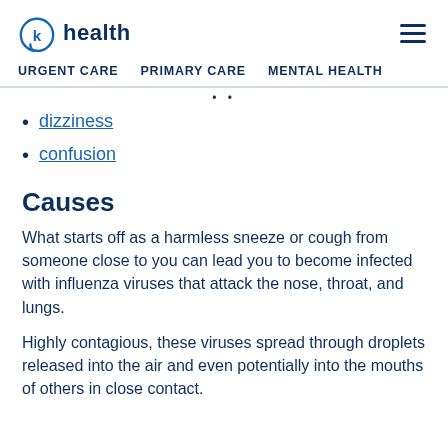k health — navigation header with hamburger menu
URGENT CARE   PRIMARY CARE   MENTAL HEALTH
dizziness
confusion
Causes
What starts off as a harmless sneeze or cough from someone close to you can lead you to become infected with influenza viruses that attack the nose, throat, and lungs.
Highly contagious, these viruses spread through droplets released into the air and even potentially into the mouths of others in close contact.